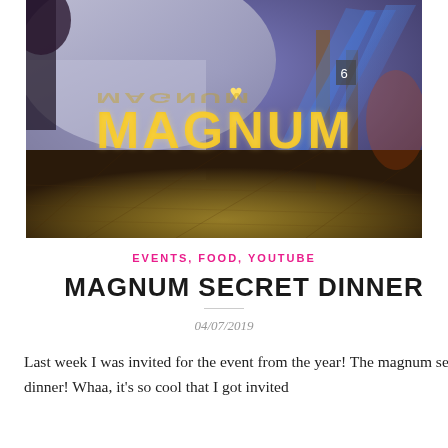[Figure (photo): Nighttime event venue photo showing large illuminated MAGNUM letters on a reflective floor with blue spotlights and a white dome structure in the background]
EVENTS, FOOD, YOUTUBE
MAGNUM SECRET DINNER
04/07/2019
Last week I was invited for the event from the year! The magnum secret dinner! Whaa, it's so cool that I got invited